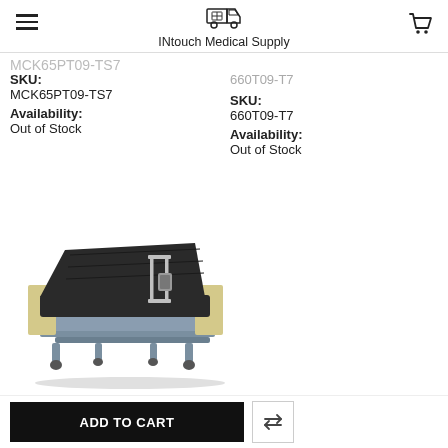INtouch Medical Supply
MCK65PT09-TS7 (cropped title)
SKU:
MCK65PT09-TS7
Availability:
Out of Stock
660T09-T7
SKU:
660T09-T7
Availability:
Out of Stock
[Figure (photo): Hospital/medical adjustable bed with dark mattress, metal side rails, beige wooden side panels, and wheeled frame with backrest elevated]
ADD TO CART